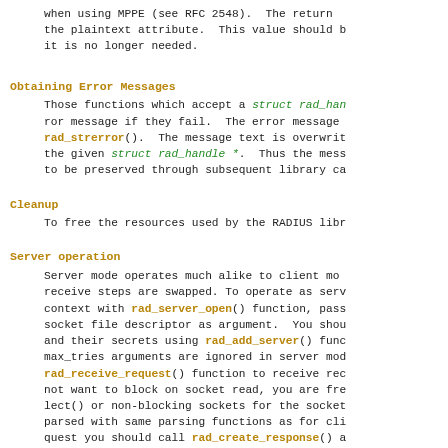when using MPPE (see RFC 2548).  The return value is the plaintext attribute.  This value should be freed when it is no longer needed.
Obtaining Error Messages
Those functions which accept a struct rad_handle * argument store an error message if they fail.  The error message can be retrieved using rad_strerror().  The message text is overwritten on each call relating to the given struct rad_handle *.  Thus the message needs to be preserved through subsequent library calls if necessary.
Cleanup
To free the resources used by the RADIUS library,
Server operation
Server mode operates much alike to client mode, but send and receive steps are swapped. To operate as server, create a context with rad_server_open() function, passing an open UDP socket file descriptor as argument.  You should add clients and their secrets using rad_add_server() function, timeout and max_tries arguments are ignored in server mode.  Use rad_receive_request() function to receive request packets.  If you do not want to block on socket read, you are free to use select() or non-blocking sockets for the socket fd.  Requests are parsed with same parsing functions as for client mode.  For each request you should call rad_create_response() and fill response with same packet writing functions as for client mode, and then it should be sent with rad_send_response().